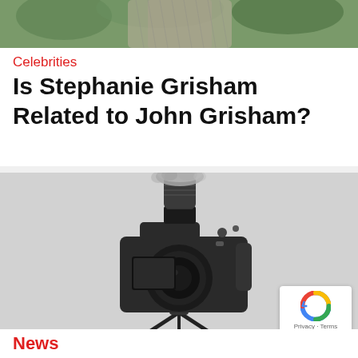[Figure (photo): Top portion of a person's torso and background with green foliage, partially cropped]
Celebrities
Is Stephanie Grisham Related to John Grisham?
[Figure (photo): DSLR camera on a tripod with a shotgun microphone attached, photographed against a light gray background]
News